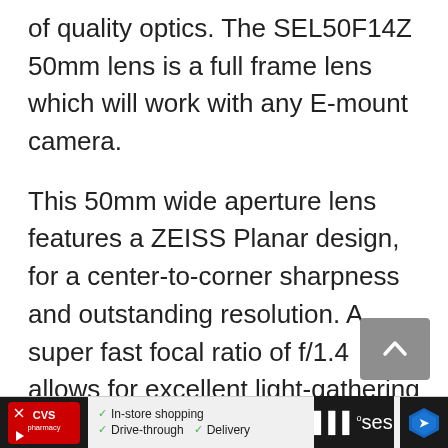of quality optics. The SEL50F14Z 50mm lens is a full frame lens which will work with any E-mount camera.
This 50mm wide aperture lens features a ZEISS Planar design, for a center-to-corner sharpness and outstanding resolution. A super fast focal ratio of f/1.4 allows for excellent light-gathering in low light conditions.
A ZEISS T* coating on the optics virtually eliminates all internal reflections and light scattering that often plagues many lenses' air-to-gla...
[Figure (screenshot): CVS Pharmacy advertisement bar showing In-store shopping, Drive-through, and Delivery options with a navigation/maps icon]